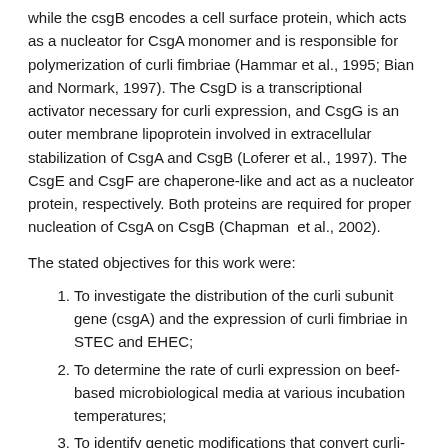while the csgB encodes a cell surface protein, which acts as a nucleator for CsgA monomer and is responsible for polymerization of curli fimbriae (Hammar et al., 1995; Bian and Normark, 1997). The CsgD is a transcriptional activator necessary for curli expression, and CsgG is an outer membrane lipoprotein involved in extracellular stabilization of CsgA and CsgB (Loferer et al., 1997). The CsgE and CsgF are chaperone-like and act as a nucleator protein, respectively. Both proteins are required for proper nucleation of CsgA on CsgB (Chapman et al., 2002).
The stated objectives for this work were:
To investigate the distribution of the curli subunit gene (csgA) and the expression of curli fimbriae in STEC and EHEC;
To determine the rate of curli expression on beef-based microbiological media at various incubation temperatures;
To identify genetic modifications that convert curli-producing to non curli-producing cells or vice versa; and
To determine the role of curli in attachment of STEC and